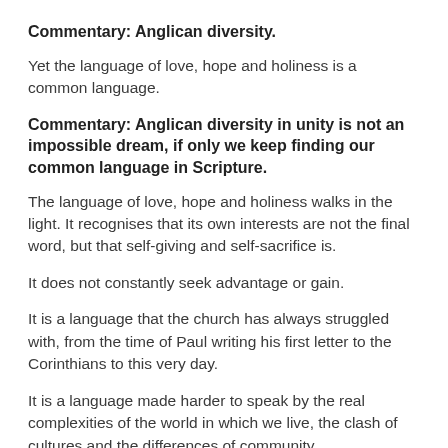Commentary: Anglican diversity.
Yet the language of love, hope and holiness is a common language.
Commentary: Anglican diversity in unity is not an impossible dream, if only we keep finding our common language in Scripture.
The language of love, hope and holiness walks in the light. It recognises that its own interests are not the final word, but that self-giving and self-sacrifice is.
It does not constantly seek advantage or gain.
It is a language that the church has always struggled with, from the time of Paul writing his first letter to the Corinthians to this very day.
It is a language made harder to speak by the real complexities of the world in which we live, the clash of cultures and the differences of community...